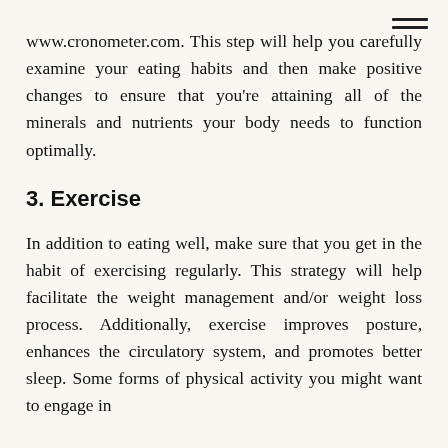www.cronometer.com. This step will help you carefully examine your eating habits and then make positive changes to ensure that you’re attaining all of the minerals and nutrients your body needs to function optimally.
3. Exercise
In addition to eating well, make sure that you get in the habit of exercising regularly. This strategy will help facilitate the weight management and/or weight loss process. Additionally, exercise improves posture, enhances the circulatory system, and promotes better sleep. Some forms of physical activity you might want to engage in